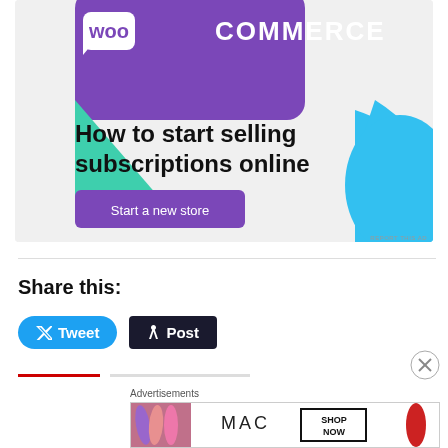[Figure (illustration): WooCommerce advertisement banner with purple background, teal triangle, blue curved shape, text 'How to start selling subscriptions online', and a 'Start a new store' button]
REPORT THIS AD
Share this:
[Figure (infographic): Tweet button (blue rounded) and Post button (dark rounded) social share buttons]
[Figure (illustration): MAC cosmetics advertisement banner showing lipsticks and SHOP NOW button]
Advertisements